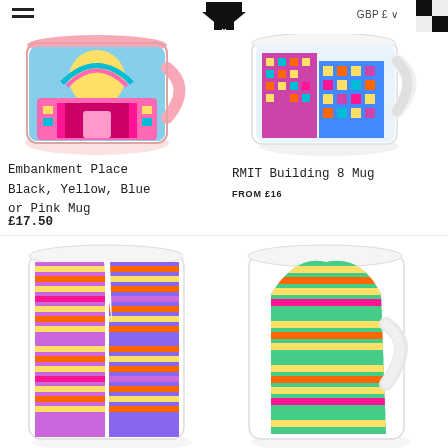Navigation menu | Logo | GBP £
[Figure (photo): Pink-handled mug with colorful architectural illustration of Embankment Place]
Embankment Place Black, Yellow, Blue or Pink Mug
£17.50
[Figure (photo): White mug with colorful illustration of RMIT Building 8]
RMIT Building 8 Mug
FROM £16
[Figure (photo): Mug with colorful illustration of tall building with purple and yellow stripes, two visible]
[Figure (photo): Mug with colorful illustration of curved modern building with green, yellow and orange stripes]